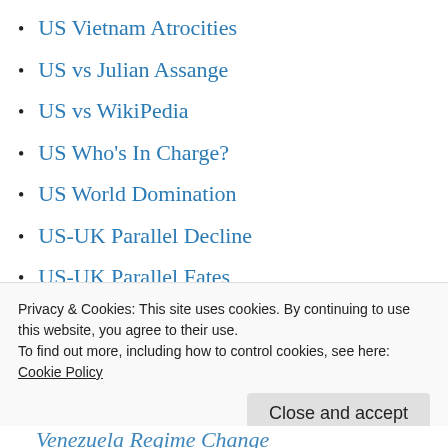US Vietnam Atrocities
US vs Julian Assange
US vs WikiPedia
US Who's In Charge?
US World Domination
US-UK Parallel Decline
US-UK Parallel Fates
USA Clandestine Government
USA Election Trickery
USPS Election Scam
USS Liberty Betrayal
Privacy & Cookies: This site uses cookies. By continuing to use this website, you agree to their use.
To find out more, including how to control cookies, see here:
Cookie Policy
Close and accept
Venezuela Regime Change